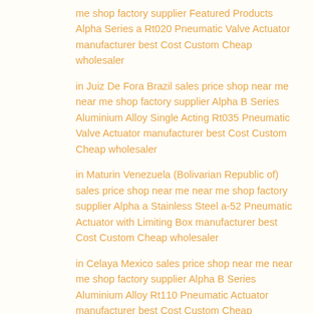me shop factory supplier Featured Products Alpha Series a Rt020 Pneumatic Valve Actuator manufacturer best Cost Custom Cheap wholesaler
in Juiz De Fora Brazil sales price shop near me near me shop factory supplier Alpha B Series Aluminium Alloy Single Acting Rt035 Pneumatic Valve Actuator manufacturer best Cost Custom Cheap wholesaler
in Maturin Venezuela (Bolivarian Republic of) sales price shop near me near me shop factory supplier Alpha a Stainless Steel a-52 Pneumatic Actuator with Limiting Box manufacturer best Cost Custom Cheap wholesaler
in Celaya Mexico sales price shop near me near me shop factory supplier Alpha B Series Aluminium Alloy Rt110 Pneumatic Actuator manufacturer best Cost Custom Cheap wholesaler
in Hamilton Canada sales price shop near me near me shop factory supplier Blue Caps Series B B40